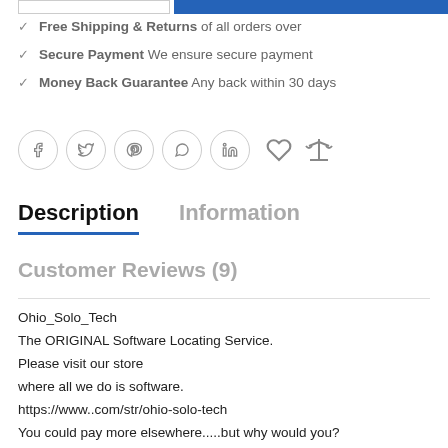✓ Free Shipping & Returns of all orders over
✓ Secure Payment We ensure secure payment
✓ Money Back Guarantee Any back within 30 days
[Figure (other): Row of social media icons: Facebook, Twitter, Pinterest, WhatsApp, LinkedIn circles, plus heart icon and scales/compare icon]
Description
Information
Customer Reviews (9)
Ohio_Solo_Tech
The ORIGINAL Software Locating Service.
Please visit our store
where all we do is software.
https://www..com/str/ohio-solo-tech
You could pay more elsewhere.....but why would you?
Can't find the software you need anywhere? Perhaps you are